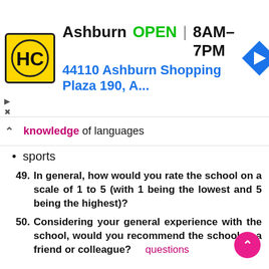[Figure (other): Advertisement banner for HC (Haircuts or similar) showing Ashburn location, OPEN 8AM-7PM, address 44110 Ashburn Shopping Plaza 190, A..., with logo and navigation arrow icon]
knowledge of languages
sports
49. In general, how would you rate the school on a scale of 1 to 5 (with 1 being the lowest and 5 being the highest)?
50. Considering your general experience with the school, would you recommend the school to a friend or colleague? questions